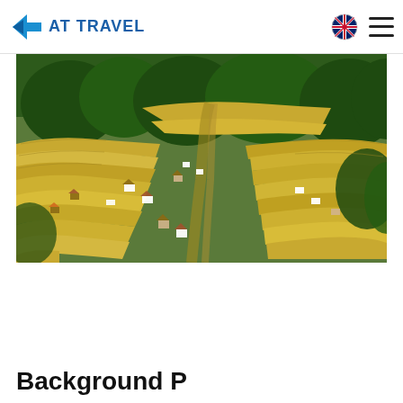AT TRAVEL
[Figure (photo): Aerial view of golden rice terraces with green trees and small village structures in a mountainous landscape, Vietnam]
Background P...